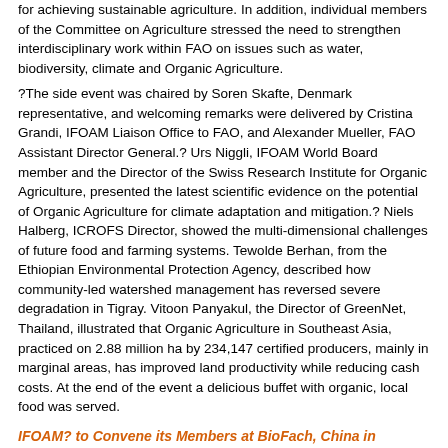for achieving sustainable agriculture. In addition, individual members of the Committee on Agriculture stressed the need to strengthen interdisciplinary work within FAO on issues such as water, biodiversity, climate and Organic Agriculture.
?The side event was chaired by Soren Skafte, Denmark representative, and welcoming remarks were delivered by Cristina Grandi, IFOAM Liaison Office to FAO, and Alexander Mueller, FAO Assistant Director General.? Urs Niggli, IFOAM World Board member and the Director of the Swiss Research Institute for Organic Agriculture, presented the latest scientific evidence on the potential of Organic Agriculture for climate adaptation and mitigation.? Niels Halberg, ICROFS Director, showed the multi-dimensional challenges of future food and farming systems. Tewolde Berhan, from the Ethiopian Environmental Protection Agency, described how community-led watershed management has reversed severe degradation in Tigray. Vitoon Panyakul, the Director of GreenNet, Thailand, illustrated that Organic Agriculture in Southeast Asia, practiced on 2.88 million ha by 234,147 certified producers, mainly in marginal areas, has improved land productivity while reducing cash costs. At the end of the event a delicious buffet with organic, local food was served.
IFOAM? to Convene its Members at BioFach, China in Shangha